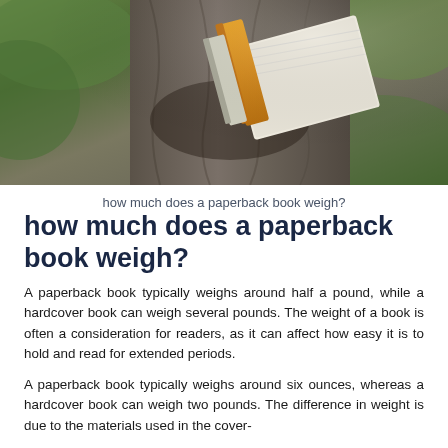[Figure (photo): A photo of an open orange/yellow book resting in a tree crevice with green moss and foliage in the background]
how much does a paperback book weigh?
how much does a paperback book weigh?
A paperback book typically weighs around half a pound, while a hardcover book can weigh several pounds. The weight of a book is often a consideration for readers, as it can affect how easy it is to hold and read for extended periods.
A paperback book typically weighs around six ounces, whereas a hardcover book can weigh two pounds. The difference in weight is due to the materials used in the cover-